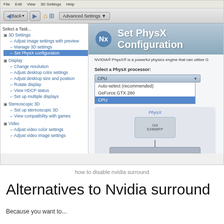[Figure (screenshot): NVIDIA Control Panel screenshot showing Set PhysX Configuration panel. Left navigation tree shows 3D Settings (Adjust image settings with preview, Manage 3D settings, Set PhysX configuration highlighted), Display (Change resolution, Adjust desktop color settings, Adjust desktop size and position, Rotate display, View HDCP status, Set up multiple displays), Stereoscopic 3D (Set up stereoscopic 3D, View compatibility with games), Video (Adjust video color settings, Adjust video image settings). Right panel shows 'Set PhysX Configuration' header, dropdown selector for PhysX processor showing CPU selected with options: Auto-select (recommended), GeForce GTX 280, CPU. Below is a PhysX diagram showing a monitor (Out E240WFP) connected to GeForce GTX 280 GPU card.]
how to disable nvidia surround
Alternatives to Nvidia surround
Because you want to...